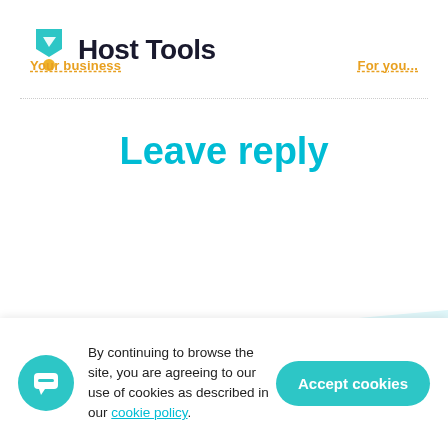Host Tools
Your business   For you...
Leave reply
WHAT ARE YOU WAITING FOR?
Take your Vacation
By continuing to browse the site, you are agreeing to our use of cookies as described in our cookie policy.